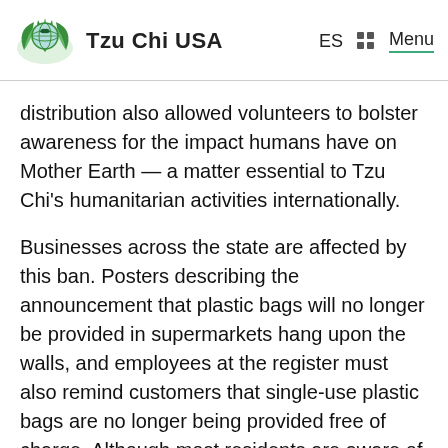Tzu Chi USA   ES   Menu
distribution also allowed volunteers to bolster awareness for the impact humans have on Mother Earth — a matter essential to Tzu Chi's humanitarian activities internationally.
Businesses across the state are affected by this ban. Posters describing the announcement that plastic bags will no longer be provided in supermarkets hang upon the walls, and employees at the register must also remind customers that single-use plastic bags are no longer being provided free of charge. Although most residents are aware of the law, getting